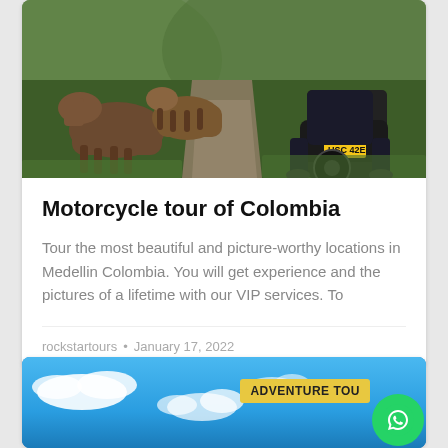[Figure (photo): A motorcycle rider on a dirt path surrounded by mules/donkeys walking toward the camera, green grassy hills in background. Motorcycle has license plate USC 42E.]
Motorcycle tour of Colombia
Tour the most beautiful and picture-worthy locations in Medellin Colombia. You will get experience and the pictures of a lifetime with our VIP services. To
rockstartours • January 17, 2022
[Figure (photo): Blue sky with white clouds background, partially visible. Yellow badge reads 'ADVENTURE TOU' (truncated). WhatsApp chat button visible at bottom right.]